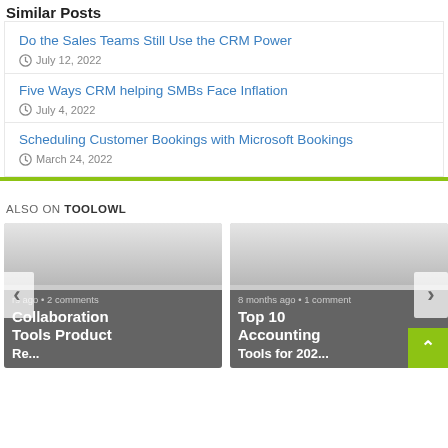Similar Posts
Do the Sales Teams Still Use the CRM Power
July 12, 2022
Five Ways CRM helping SMBs Face Inflation
July 4, 2022
Scheduling Customer Bookings with Microsoft Bookings
March 24, 2022
ALSO ON TOOLOWL
[Figure (screenshot): Two article cards side by side. Left card: '...rs ago • 2 comments' and title 'Collaboration Tools Product Re...' Right card: '8 months ago • 1 comment' and title 'Top 10 Accounting Tools for 202...' Navigation arrows on left and right. Green back-to-top button bottom right.]